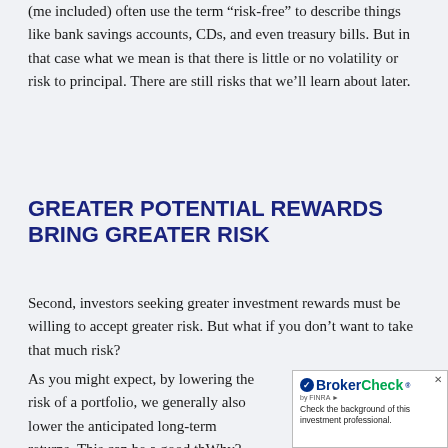(me included) often use the term “risk-free” to describe things like bank savings accounts, CDs, and even treasury bills. But in that case what we mean is that there is little or no volatility or risk to principal. There are still risks that we’ll learn about later.
GREATER POTENTIAL REWARDS BRING GREATER RISK
Second, investors seeking greater investment rewards must be willing to accept greater risk. But what if you don’t want to take that much risk?
As you might expect, by lowering the risk of a portfolio, we generally also lower the anticipated long-term returns. This can be a good th... Why? Because in time of market turmo... will be straight if the investment dips...
[Figure (other): BrokerCheck by FINRA advertisement badge overlaid in bottom-right corner with close button]